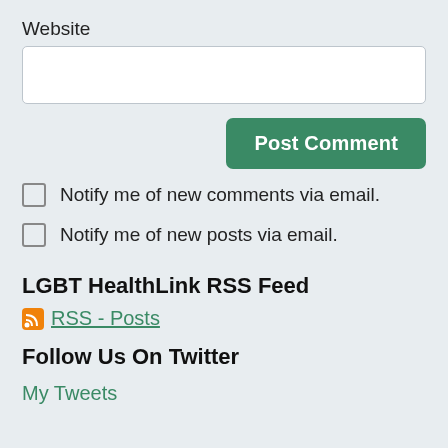Website
[Figure (other): Empty text input box for Website field]
[Figure (other): Post Comment button, green rounded rectangle]
Notify me of new comments via email.
Notify me of new posts via email.
LGBT HealthLink RSS Feed
RSS - Posts
Follow Us On Twitter
My Tweets